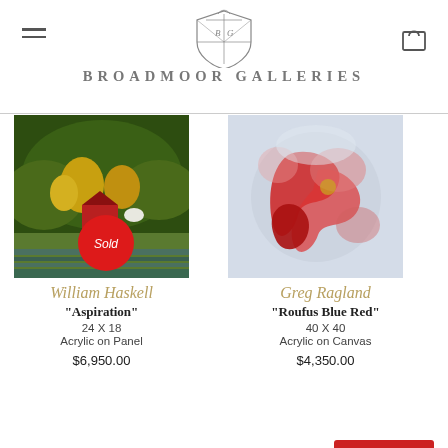Broadmoor Galleries
[Figure (photo): Painting by William Haskell titled Aspiration — landscape with red barn, trees, dark green hills, with a red Sold badge overlaid]
[Figure (photo): Painting by Greg Ragland titled Roufus Blue Red — abstract acrylic on canvas with red and blue tones]
William Haskell
"Aspiration"
24 X 18
Acrylic on Panel
$6,950.00
Greg Ragland
"Roufus Blue Red"
40 X 40
Acrylic on Canvas
$4,350.00